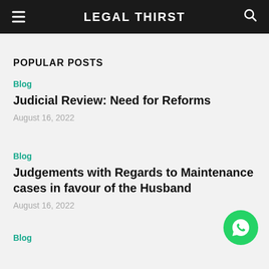LEGAL THIRST
POPULAR POSTS
Blog
Judicial Review: Need for Reforms
August 16, 2022
Blog
Judgements with Regards to Maintenance cases in favour of the Husband
August 16, 2022
Blog